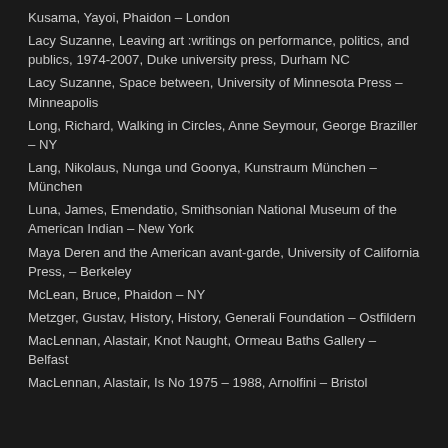Kusama, Yayoi, Phaidon – London
Lacy Suzanne, Leaving art :writings on performance, politics, and publics, 1974-2007, Duke university press, Durham NC
Lacy Suzanne, Space between, University of Minnesota Press – Minneapolis
Long, Richard, Walking in Circles, Anne Seymour, George Braziller – NY
Lang, Nikolaus, Nunga und Goonya, Kunstraum München – München
Luna, James, Emendatio, Smithsonian National Museum of the American Indian – New York
Maya Deren and the American avant-garde, University of California Press, – Berkeley
McLean, Bruce, Phaidon – NY
Metzger, Gustav, History, History, Generali Foundation – Ostfildern
MacLennan, Alastair, Knot Naught, Ormeau Baths Gallery – Belfast
MacLennan, Alastair, Is No 1975 – 1988, Arnolfini – Bristol